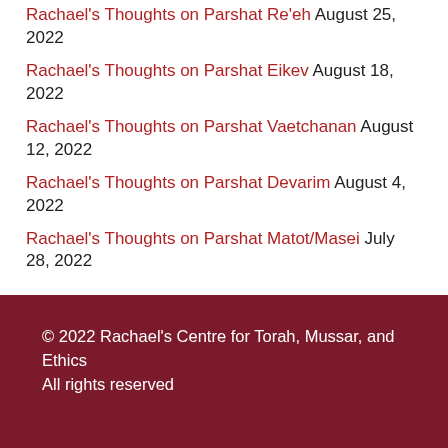Rachael's Thoughts on Parshat Re'eh August 25, 2022
Rachael's Thoughts on Parshat Eikev August 18, 2022
Rachael's Thoughts on Parshat Vaetchanan August 12, 2022
Rachael's Thoughts on Parshat Devarim August 4, 2022
Rachael's Thoughts on Parshat Matot/Masei July 28, 2022
© 2022 Rachael's Centre for Torah, Mussar, and Ethics
All rights reserved